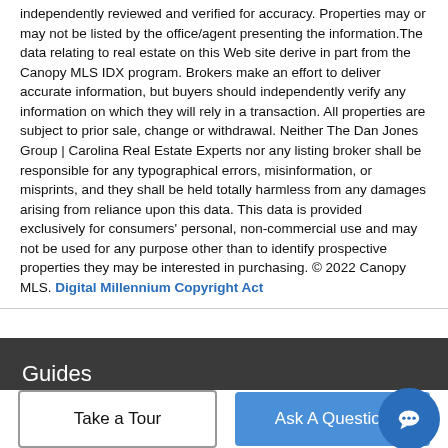independently reviewed and verified for accuracy. Properties may or may not be listed by the office/agent presenting the information.The data relating to real estate on this Web site derive in part from the Canopy MLS IDX program. Brokers make an effort to deliver accurate information, but buyers should independently verify any information on which they will rely in a transaction. All properties are subject to prior sale, change or withdrawal. Neither The Dan Jones Group | Carolina Real Estate Experts nor any listing broker shall be responsible for any typographical errors, misinformation, or misprints, and they shall be held totally harmless from any damages arising from reliance upon this data. This data is provided exclusively for consumers' personal, non-commercial use and may not be used for any purpose other than to identify prospective properties they may be interested in purchasing. © 2022 Canopy MLS. Digital Millennium Copyright Act
Guides
Take a Tour
Ask A Question